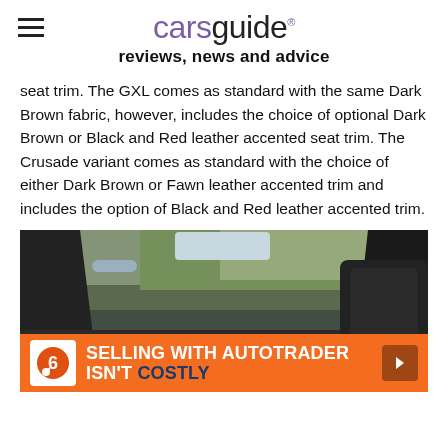carsguide reviews, news and advice
seat trim. The GXL comes as standard with the same Dark Brown fabric, however, includes the choice of optional Dark Brown or Black and Red leather accented seat trim. The Crusade variant comes as standard with the choice of either Dark Brown or Fawn leather accented trim and includes the option of Black and Red leather accented trim.
[Figure (photo): Car interior photo showing dashboard, steering wheel, and front seats with a promotional Autotrader advertisement overlay reading 'SELLING WITH AUTOTRADER ISN'T COSTLY']